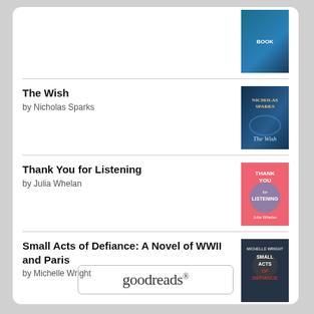[Figure (illustration): Book cover thumbnail at top (partially visible)]
The Wish by Nicholas Sparks
Thank You for Listening by Julia Whelan
Small Acts of Defiance: A Novel of WWII and Paris by Michelle Wright
We Sold Our Souls by Grady Hendrix
[Figure (logo): Goodreads logo in a rounded rectangle]